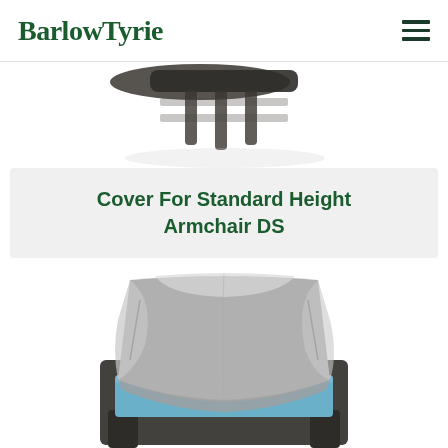BarlowTyrie
[Figure (photo): Top portion of a dark wicker/rattan armchair or furniture piece, partially visible, showing the top back rail and armrests from above, on a white background.]
Cover For Standard Height Armchair DS
[Figure (photo): A grey protective cover draped over a dark wicker/rattan armchair with a blue/teal cushion visible below, photographed against a white background.]